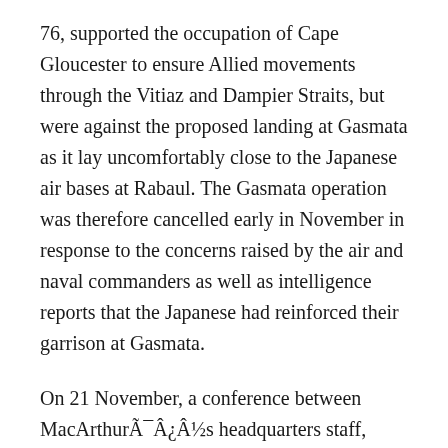76, supported the occupation of Cape Gloucester to ensure Allied movements through the Vitiaz and Dampier Straits, but were against the proposed landing at Gasmata as it lay uncomfortably close to the Japanese air bases at Rabaul. The Gasmata operation was therefore cancelled early in November in response to the concerns raised by the air and naval commanders as well as intelligence reports that the Japanese had reinforced their garrison at Gasmata.
On 21 November, a conference between MacArthurÃ¯Â¿Â½s headquarters staff, Kenney, Carpender and Barbey was held in Brisbane, and at this the decision was made to land a small force in the Arawe area for three purposes: to divert Japanese attention from Cape Gloucester, to provide a PT-boat base, and to establish a defensive perimeter and make contact with the marines once they had landed on Cape Gloucester. The PT-boat at Arawe would be ideally placed, it was believed, for the disruption of the Japanese barge traffic along the southern